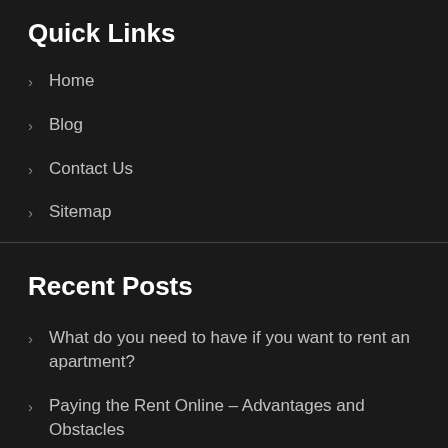Quick Links
Home
Blog
Contact Us
Sitemap
Recent Posts
What do you need to have if you want to rent an apartment?
Paying the Rent Online – Advantages and Obstacles
Making Your Choice Of A Real Estate Agent